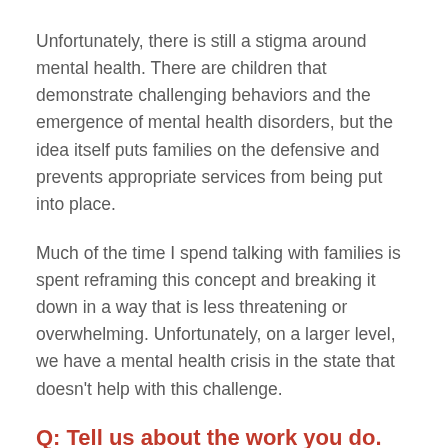Unfortunately, there is still a stigma around mental health. There are children that demonstrate challenging behaviors and the emergence of mental health disorders, but the idea itself puts families on the defensive and prevents appropriate services from being put into place.
Much of the time I spend talking with families is spent reframing this concept and breaking it down in a way that is less threatening or overwhelming. Unfortunately, on a larger level, we have a mental health crisis in the state that doesn't help with this challenge.
Q: Tell us about the work you do.
A: I am a licensed independent social worker and an